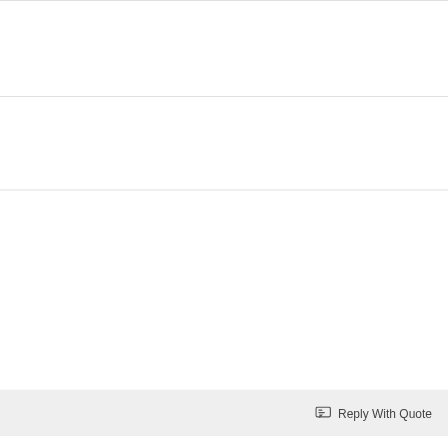Reply With Quote
#7
| Field | Value |
| --- | --- |
| Join Date: | Mar 2009 |
| Posts: | 72 |